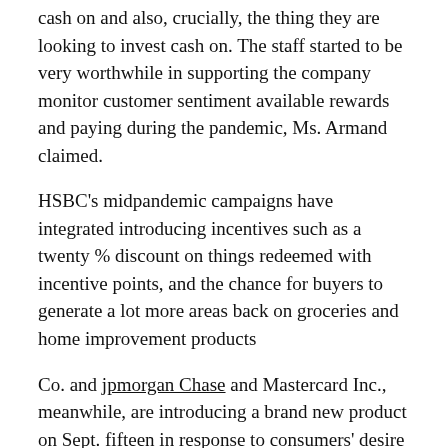cash on and also, crucially, the thing they are looking to invest cash on. The staff started to be very worthwhile in supporting the company monitor customer sentiment available rewards and paying during the pandemic, Ms. Armand claimed.
HSBC's midpandemic campaigns have integrated introducing incentives such as a twenty % discount on things redeemed with incentive points, and the chance for buyers to generate a lot more areas back on groceries and home improvement products
Co. and jpmorgan Chase and Mastercard Inc., meanwhile, are introducing a brand new product on Sept. fifteen in response to consumers' desire for rewards, particularly on transactions that are digital. The new Chase Freedom Flex card is going to offer benefits including 5 % cash back on trips from Lyft Inc. along with a free three month membership to